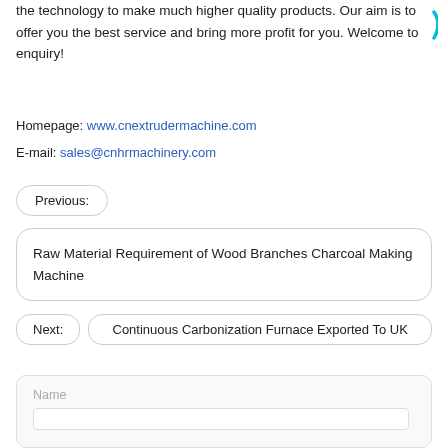the technology to make much higher quality products. Our aim is to offer you the best service and bring more profit for you. Welcome to enquiry!
Homepage: www.cnextrudermachine.com
E-mail: sales@cnhrmachinery.com
Previous:
Raw Material Requirement of Wood Branches Charcoal Making Machine
Next: Continuous Carbonization Furnace Exported To UK
Name